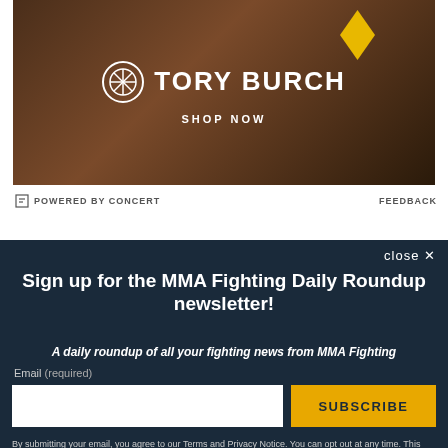[Figure (photo): Tory Burch advertisement banner showing a person against a brick wall background with yellow diamond accent. The logo shows the Tory Burch emblem and brand name in white, with 'SHOP NOW' text below.]
POWERED BY CONCERT   FEEDBACK
Sign up for the MMA Fighting Daily Roundup newsletter!
A daily roundup of all your fighting news from MMA Fighting
Email (required)
SUBSCRIBE
By submitting your email, you agree to our Terms and Privacy Notice. You can opt out at any time. This site is protected by reCAPTCHA and the Google Privacy Policy and Terms of Service apply.